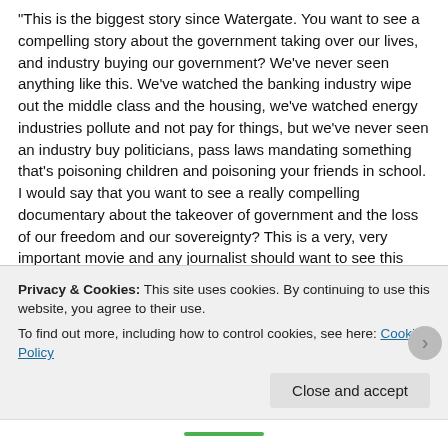“This is the biggest story since Watergate. You want to see a compelling story about the government taking over our lives, and industry buying our government? We’ve never seen anything like this. We’ve watched the banking industry wipe out the middle class and the housing, we’ve watched energy industries pollute and not pay for things, but we’ve never seen an industry buy politicians, pass laws mandating something that’s poisoning children and poisoning your friends in school. I would say that you want to see a really compelling documentary about the takeover of government and the loss of our freedom and our sovereignty? This is a very, very important movie and any journalist should want to see this immediately.
I would say to everybody that wants to take this film and show your doctor, don’t say, “I know more than you, you’ve got to see this movie.” Go in with questions. Just say, “I just saw a movie that I found extremely disturbing and shocking and it’s really calling into question my belief in the vaccine program. Could you please watch this film and explain to me where they’re
Privacy & Cookies: This site uses cookies. By continuing to use this website, you agree to their use.
To find out more, including how to control cookies, see here: Cookie Policy
Close and accept